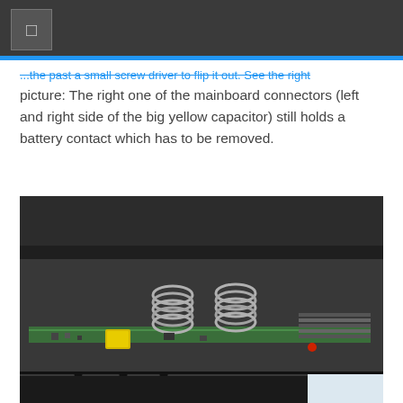...the past a small screw driver to flip it out. See the right picture: The right one of the mainboard connectors (left and right side of the big yellow capacitor) still holds a battery contact which has to be removed.
[Figure (photo): Close-up photo of laptop/device mainboard internals showing springs, a yellow capacitor, circuit board, connectors, and black plastic housing with spikes]
[Figure (photo): Hands holding and working on a black electronic device component]